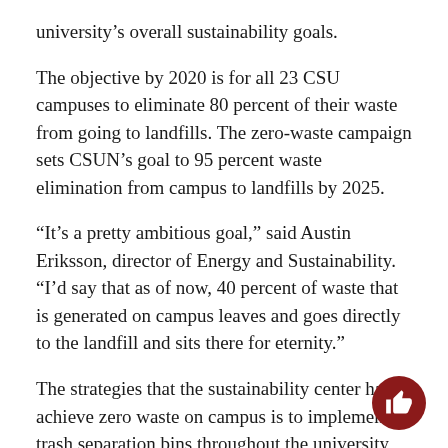university's overall sustainability goals.
The objective by 2020 is for all 23 CSU campuses to eliminate 80 percent of their waste from going to landfills. The zero-waste campaign sets CSUN’s goal to 95 percent waste elimination from campus to landfills by 2025.
“It’s a pretty ambitious goal,” said Austin Eriksson, director of Energy and Sustainability. “I’d say that as of now, 40 percent of waste that is generated on campus leaves and goes directly to the landfill and sits there for eternity.”
The strategies that the sustainability center has to achieve zero waste on campus is to implement trash separation bins throughout the university, utilizing the campus food recovery network and turning the campus’ food waste into fertilizer for the CSUN